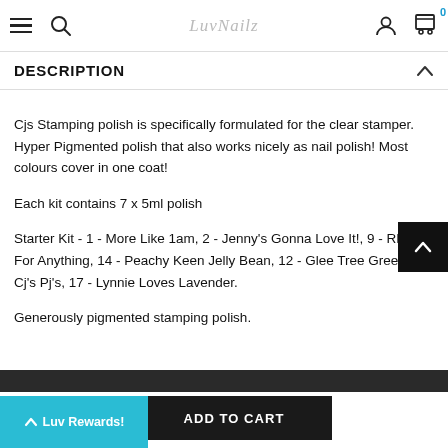LuvNailz navigation bar with hamburger menu, search, logo, user icon, and cart (0)
DESCRIPTION
Cjs Stamping polish is specifically formulated for the clear stamper. Hyper Pigmented polish that also works nicely as nail polish! Most colours cover in one coat!
Each kit contains 7 x 5ml polish
Starter Kit - 1 - More Like 1am, 2 - Jenny's Gonna Love It!, 9 - REDy For Anything, 14 - Peachy Keen Jelly Bean, 12 - Glee Tree Green, 7 - Cj's Pj's, 17 - Lynnie Loves Lavender.
Generously pigmented stamping polish.
ADD TO CART | Luv Rewards!